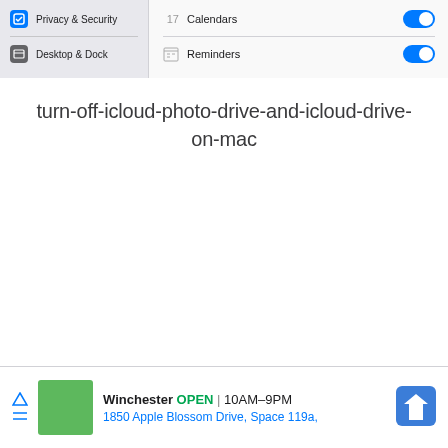[Figure (screenshot): macOS System Settings screenshot showing Privacy & Security and Desktop & Dock rows on the left sidebar, and Calendars and Reminders toggle rows on the right panel, both toggles enabled (blue).]
turn-off-icloud-photo-drive-and-icloud-drive-on-mac
[Figure (screenshot): Advertisement bar showing Winchester store: OPEN 10AM-9PM, 1850 Apple Blossom Drive, Space 119a, with a green store thumbnail and map direction icon.]